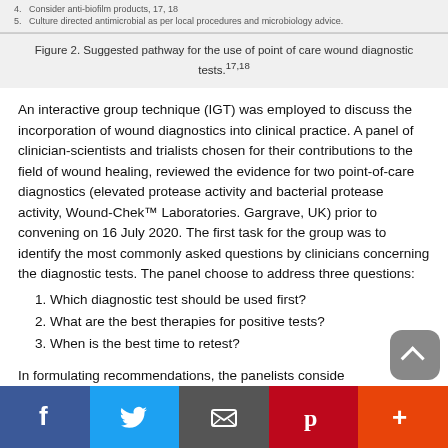[Figure (other): Bottom portion of Figure 2 showing pathway steps with small text items including 'Consider anti-biofilm products' and 'Culture directed antimicrobial as per local procedures and microbiology advice']
Figure 2. Suggested pathway for the use of point of care wound diagnostic tests.17,18
An interactive group technique (IGT) was employed to discuss the incorporation of wound diagnostics into clinical practice. A panel of clinician-scientists and trialists chosen for their contributions to the field of wound healing, reviewed the evidence for two point-of-care diagnostics (elevated protease activity and bacterial protease activity, Wound-Chek™ Laboratories. Gargrave, UK) prior to convening on 16 July 2020. The first task for the group was to identify the most commonly asked questions by clinicians concerning the diagnostic tests. The panel choose to address three questions:
1. Which diagnostic test should be used first?
2. What are the best therapies for positive tests?
3. When is the best time to retest?
In formulating recommendations, the panelists conside…